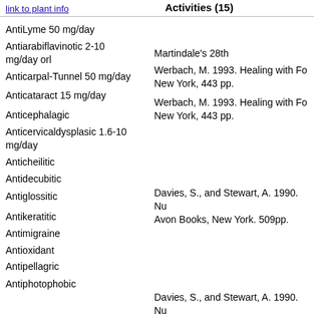Activities (15)
AntiLyme 50 mg/day
Antiarabiflavinotic 2-10 mg/day orl
Martindale's 28th
Anticarpal-Tunnel 50 mg/day
Werbach, M. 1993. Healing with Foo... New York, 443 pp.
Anticataract 15 mg/day
Werbach, M. 1993. Healing with Foo... New York, 443 pp.
Anticephalagic
Anticervicaldysplasic 1.6-10 mg/day
Anticheilitic
Antidecubitic
Antiglossitic
Davies, S., and Stewart, A. 1990. Nu... Avon Books, New York. 509pp.
Antikeratitic
Antimigraine
Antioxidant
Antipellagric
Antiphotophobic
Davies, S., and Stewart, A. 1990. Nu... Avon Books, New York. 509pp.